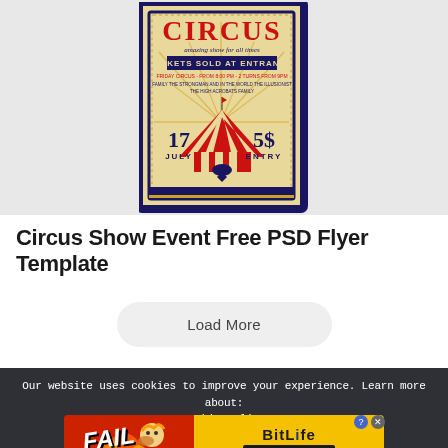[Figure (illustration): Circus show event flyer design displayed as a card/mockup on a light grey background. The flyer has a vintage circus style with 'CIRCUS' in large red decorative letters at top, 'TICKETS SOLD AT ENTRANCE' text, a big top tent illustration in center with red and white stripes, '17 JULY' and '5$' entry price displayed prominently, dark navy blue border with ornate decorations on cream/yellow background.]
Circus Show Event Free PSD Flyer Template
Load More
Our website uses cookies to improve your experience. Learn more about: cookie policy
[Figure (screenshot): BitLife game advertisement banner with 'FAIL' text on red fiery background on the left, cartoon character with fire, and 'BitLife START A NEW LIFE' text on yellow background on the right. Has a question mark and X close button.]